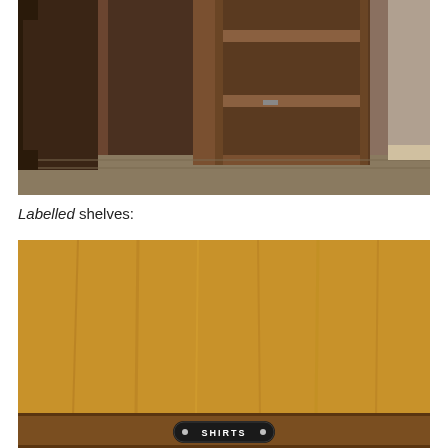[Figure (photo): Interior of a wooden wardrobe/closet showing empty wooden shelves and hanging space with carpet floor visible]
Labelled shelves:
[Figure (photo): Close-up of a wooden shelf with a black label plate reading 'SHIRTS' with decorative dots on either side]